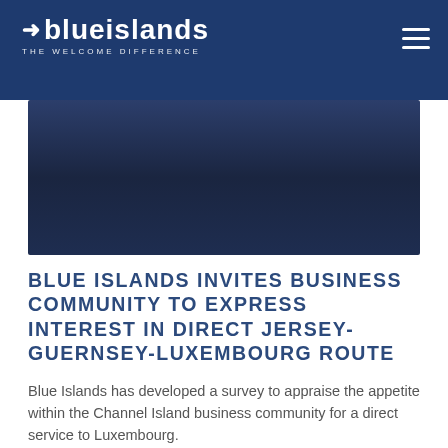Blue Islands — THE WELCOME DIFFERENCE
[Figure (photo): Dark hero image with navy/dark blue gradient background, likely an aircraft or landscape]
BLUE ISLANDS INVITES BUSINESS COMMUNITY TO EXPRESS INTEREST IN DIRECT JERSEY-GUERNSEY-LUXEMBOURG ROUTE
Blue Islands has developed a survey to appraise the appetite within the Channel Island business community for a direct service to Luxembourg.
17 Aug 2018
Jersey,  Guernsey,  Community,  Blue Islands